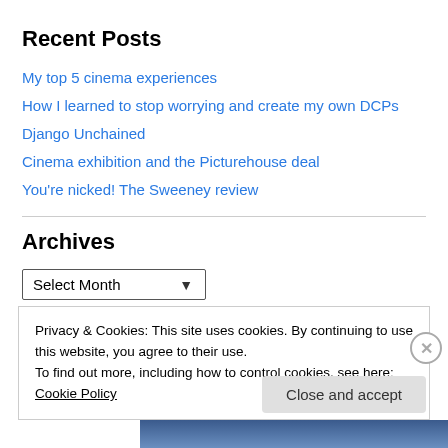Recent Posts
My top 5 cinema experiences
How I learned to stop worrying and create my own DCPs
Django Unchained
Cinema exhibition and the Picturehouse deal
You're nicked! The Sweeney review
Archives
Select Month
Privacy & Cookies: This site uses cookies. By continuing to use this website, you agree to their use.
To find out more, including how to control cookies, see here: Cookie Policy
Close and accept